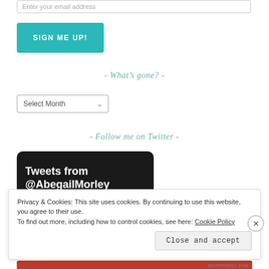Enter your email address
SIGN ME UP!
- What's gone? -
Select Month
- Follow me on Twitter -
[Figure (screenshot): Twitter embed widget showing 'Tweets from @AbegailMorley' on a dark background]
Privacy & Cookies: This site uses cookies. By continuing to use this website, you agree to their use. To find out more, including how to control cookies, see here: Cookie Policy
Close and accept